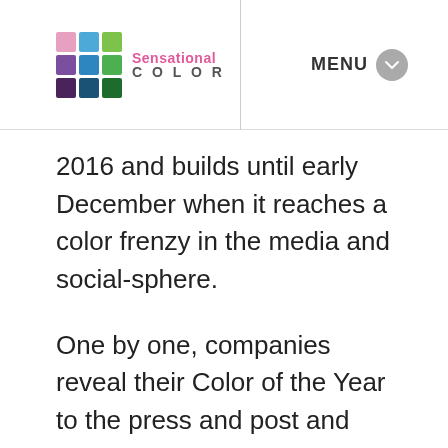Sensational COLOR | MENU
2016 and builds until early December when it reaches a color frenzy in the media and social-sphere.
One by one, companies reveal their Color of the Year to the press and post and boast about it on their websites. PPG and AkzoNobel are usually first followed by Sherwin-Williams,